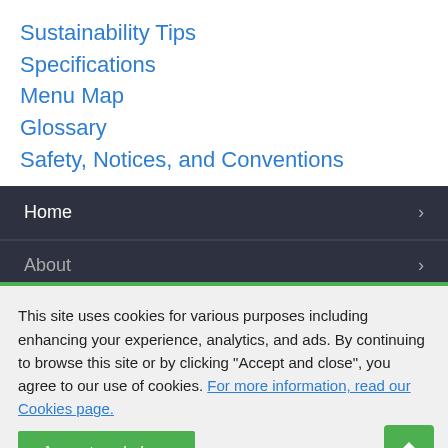Sustainability Tips
Specifications
Menu Map
Glossary
Safety, Notices, and Conventions
Home
About
This site uses cookies for various purposes including enhancing your experience, analytics, and ads. By continuing to browse this site or by clicking "Accept and close", you agree to our use of cookies. For more information, read our Cookies page.